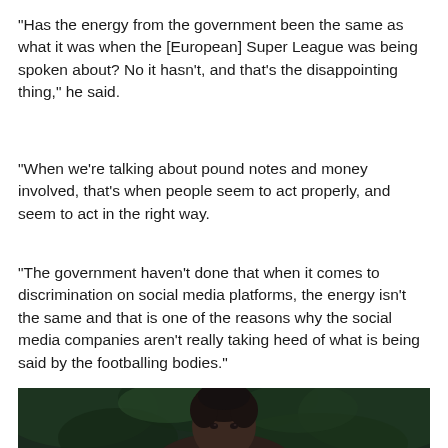"Has the energy from the government been the same as what it was when the [European] Super League was being spoken about? No it hasn't, and that's the disappointing thing," he said.
"When we're talking about pound notes and money involved, that's when people seem to act properly, and seem to act in the right way.
"The government haven't done that when it comes to discrimination on social media platforms, the energy isn't the same and that is one of the reasons why the social media companies aren't really taking heed of what is being said by the footballing bodies."
[Figure (photo): Close-up portrait of a young Black man with short natural hair, looking forward with a serious expression, outdoors with dark green foliage in the background.]